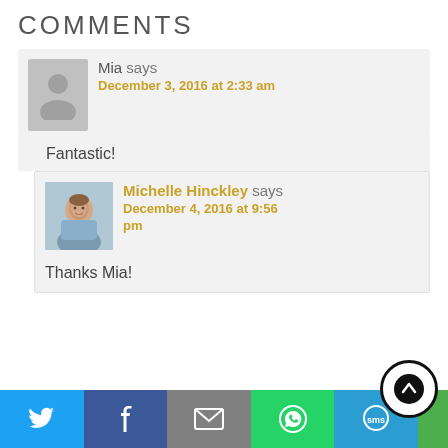COMMENTS
Mia says
December 3, 2016 at 2:33 am
Fantastic!
Michelle Hinckley says
December 4, 2016 at 9:56 pm
Thanks Mia!
[Figure (infographic): Social sharing bar with Twitter, Facebook, Email, WhatsApp, SMS buttons and scroll-to-top button]